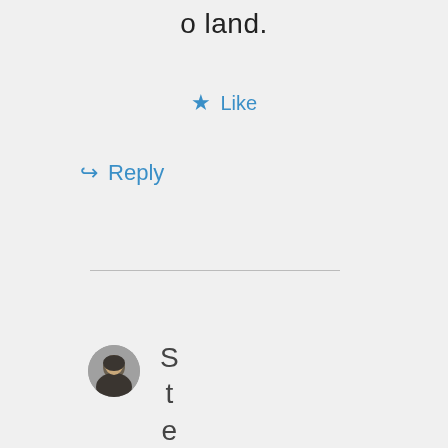o land.
★ Like
↪ Reply
[Figure (photo): Small circular avatar photo of a person wearing a dark jacket]
StephenYolla